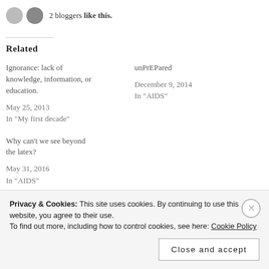2 bloggers like this.
Related
Ignorance: lack of knowledge, information, or education.
May 25, 2013
In "My first decade"
unPrEPared
December 9, 2014
In "AIDS"
Why can’t we see beyond the latex?
May 31, 2016
In "AIDS"
Privacy & Cookies: This site uses cookies. By continuing to use this website, you agree to their use.
To find out more, including how to control cookies, see here: Cookie Policy
Close and accept